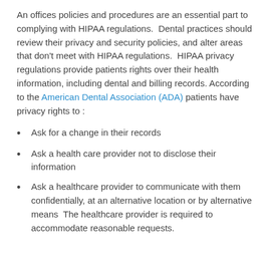An offices policies and procedures are an essential part to complying with HIPAA regulations.  Dental practices should review their privacy and security policies, and alter areas that don't meet with HIPAA regulations.  HIPAA privacy regulations provide patients rights over their health information, including dental and billing records. According to the American Dental Association (ADA) patients have privacy rights to :
Ask for a change in their records
Ask a health care provider not to disclose their information
Ask a healthcare provider to communicate with them confidentially, at an alternative location or by alternative means  The healthcare provider is required to accommodate reasonable requests.